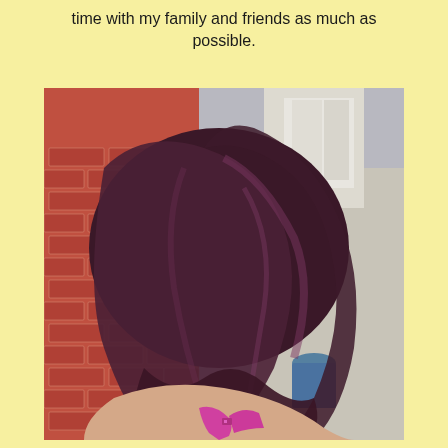time with my family and friends as much as possible.
[Figure (photo): Back view of a person with long, wavy, dark purple-maroon (plum/violet) colored hair, standing in front of a red brick wall. The person is wearing a pink/magenta bra strap visible at the bottom. Background shows a sidewalk, green awning, and a building with white curtains.]